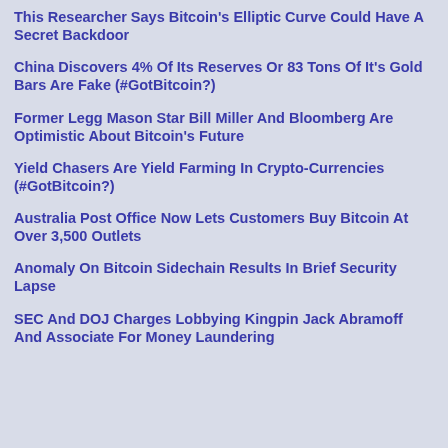This Researcher Says Bitcoin's Elliptic Curve Could Have A Secret Backdoor
China Discovers 4% Of Its Reserves Or 83 Tons Of It's Gold Bars Are Fake (#GotBitcoin?)
Former Legg Mason Star Bill Miller And Bloomberg Are Optimistic About Bitcoin's Future
Yield Chasers Are Yield Farming In Crypto-Currencies (#GotBitcoin?)
Australia Post Office Now Lets Customers Buy Bitcoin At Over 3,500 Outlets
Anomaly On Bitcoin Sidechain Results In Brief Security Lapse
SEC And DOJ Charges Lobbying Kingpin Jack Abramoff And Associate For Money Laundering